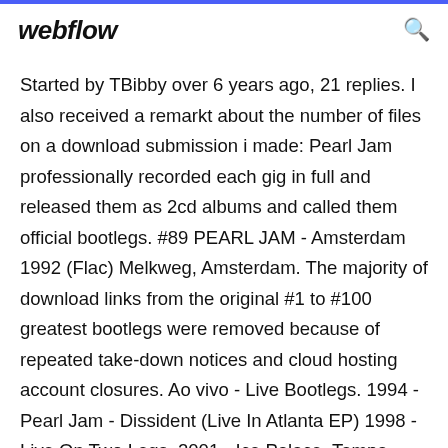webflow
Started by TBibby over 6 years ago, 21 replies. I also received a remarkt about the number of files on a download submission i made: Pearl Jam professionally recorded each gig in full and released them as 2cd albums and called them official bootlegs. #89 PEARL JAM - Amsterdam 1992 (Flac) Melkweg, Amsterdam. The majority of download links from the original #1 to #100 greatest bootlegs were removed because of repeated take-down notices and cloud hosting account closures. Ao vivo - Live Bootlegs. 1994 - Pearl Jam - Dissident (Live In Atlanta EP) 1998 - Live On Two Legs. 2001 - Ice Palace, Tampa, Florida 08-12-2000 (Bootleg) 2001 - Jones Beach Amphitheater, Wantagh, New York 08-24-